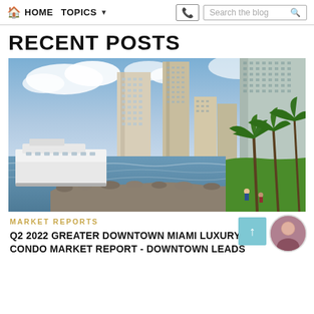HOME  TOPICS  Search the blog
RECENT POSTS
[Figure (photo): Miami downtown skyline with luxury high-rise condos, bay waterfront, a docked white yacht, rocky seawall, palm trees, green lawn, and partly cloudy sky]
MARKET REPORTS
Q2 2022 GREATER DOWNTOWN MIAMI LUXURY CONDO MARKET REPORT - DOWNTOWN LEADS